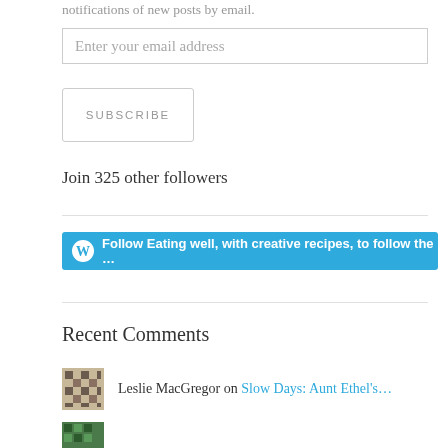notifications of new posts by email.
Enter your email address
SUBSCRIBE
Join 325 other followers
Follow Eating well, with creative recipes, to follow the Fasting Lifestyle a…
Recent Comments
Leslie MacGregor on Slow Days: Aunt Ethel's…